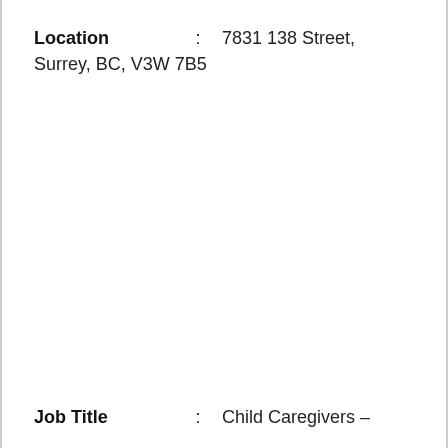Location : 7831 138 Street, Surrey, BC, V3W 7B5
Job Title : Child Caregivers –